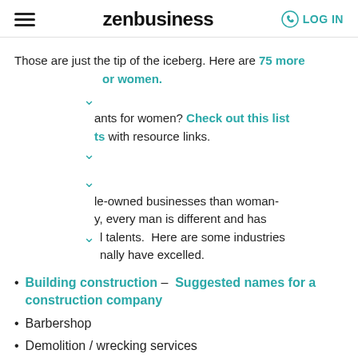zenbusiness | LOG IN
Those are just the tip of the iceberg. Here are 75 more [business ideas] for women.
[collapsed accordion] ants for women? Check out this list [of grants] with resource links.
[collapsed accordion] ale-owned businesses than woman-[owned]. Every man is different and has [unique] talents. Here are some industries [where men] nally have excelled.
Building construction – Suggested names for a construction company
Barbershop
Demolition / wrecking services
Furniture making
[Restaurant — partially visible, BBQ in it]